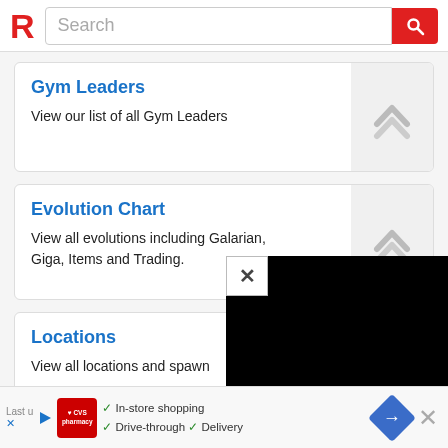[Figure (screenshot): Website header with red R logo and search bar with red search button]
Gym Leaders
View our list of all Gym Leaders
Evolution Chart
View all evolutions including Galarian, Giga, Items and Trading.
Locations
View all locations and spawn
[Figure (screenshot): Black overlay popup with white X close button in top-left corner]
[Figure (screenshot): CVS Pharmacy advertisement banner: In-store shopping, Drive-through, Delivery with navigation arrow icon and close button]